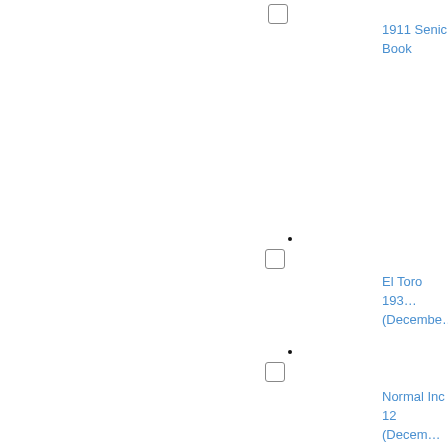[Figure (other): Checkbox UI element near top center]
1911 Senior Book
[Figure (other): Dot and checkbox UI elements mid-page]
El Toro 193... (December...
[Figure (other): Dot and checkbox UI elements lower page]
Normal Inc... 12 (Decem...